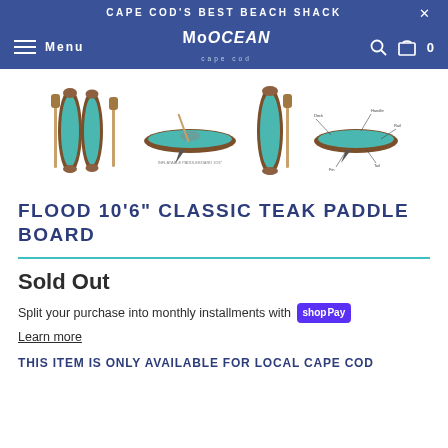CAPE COD'S BEST BEACH SHACK
[Figure (logo): MoOcean Cape Cod logo in white on dark blue navigation bar]
[Figure (photo): Four product thumbnail images of the Flood 10'6" Classic Teak Paddle Board showing front view with two boards and paddle, side kayak view, front single board with paddle, and labeled diagram]
FLOOD 10'6" CLASSIC TEAK PADDLE BOARD
Sold Out
Split your purchase into monthly installments with Shop Pay
Learn more
THIS ITEM IS ONLY AVAILABLE FOR LOCAL CAPE COD